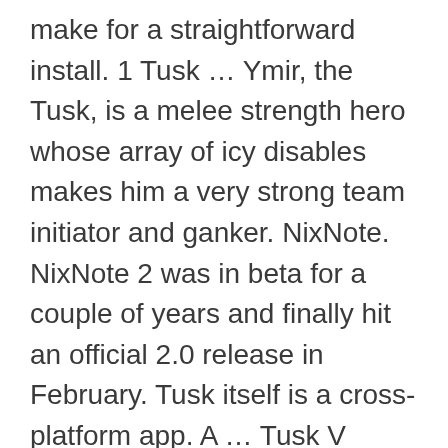make for a straightforward install. 1 Tusk … Ymir, the Tusk, is a melee strength hero whose array of icy disables makes him a very strong team initiator and ganker. NixNote. NixNote 2 was in beta for a couple of years and finally hit an official 2.0 release in February. Tusk itself is a cross-platform app. A … Tusk V made his debut this year as the next generation of our Arkansas Razorback living mascot. Tusk is probably the best Evernote desktop app for Linux. E.g. FOSSMint: Everything About Linux and FOSS © 2019. Tusk itself is a cross-platform app. Black Tusk Resources, Inc. engages in the acquisition and exploration of mineral properties. Pitivi – A Free and Open Source Video Editor for… How to